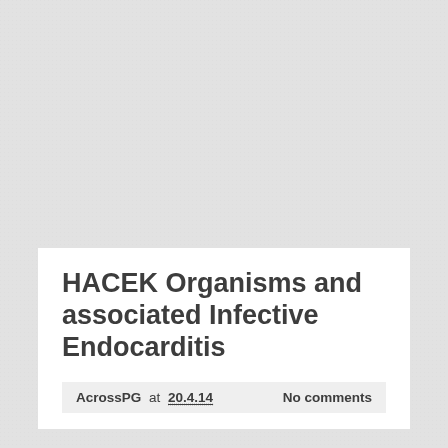HACEK Organisms and associated Infective Endocarditis
AcrossPG at 20.4.14  No comments